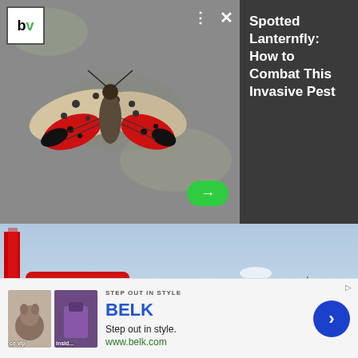[Figure (photo): Spotted lanternfly insect on a gray textured surface, with red and black wings visible]
Spotted Lanternfly: How to Combat This Invasive Pest
[Figure (photo): Winter scene with a red sign reading NO. 1 SANTA CLAUS LANE, a snowy log cabin building in the background surrounded by snow-covered pine trees]
[Figure (screenshot): BELK advertisement banner: Step out in style. www.belk.com with two product thumbnail images and a blue chevron button]